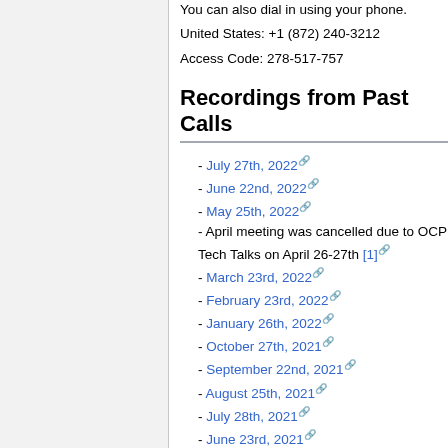You can also dial in using your phone.
United States: +1 (872) 240-3212
Access Code: 278-517-757
Recordings from Past Calls
- July 27th, 2022
- June 22nd, 2022
- May 25th, 2022
- April meeting was cancelled due to OCP Tech Talks on April 26-27th [1]
- March 23rd, 2022
- February 23rd, 2022
- January 26th, 2022
- October 27th, 2021
- September 22nd, 2021
- August 25th, 2021
- July 28th, 2021
- June 23rd, 2021